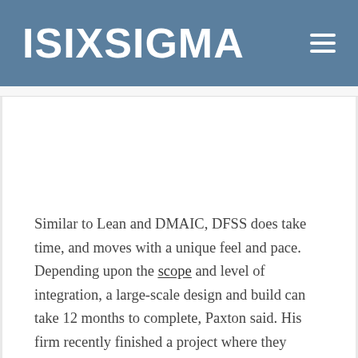ISIXSIGMA
Similar to Lean and DMAIC, DFSS does take time, and moves with a unique feel and pace. Depending upon the scope and level of integration, a large-scale design and build can take 12 months to complete, Paxton said. His firm recently finished a project where they completely redesigned a core business process for a large financial institution. The project included the implementation of a new workflow environment, support processes, user interfaces and system integrations. From start to finish, the project took 18 months to complete. The payoff, though,